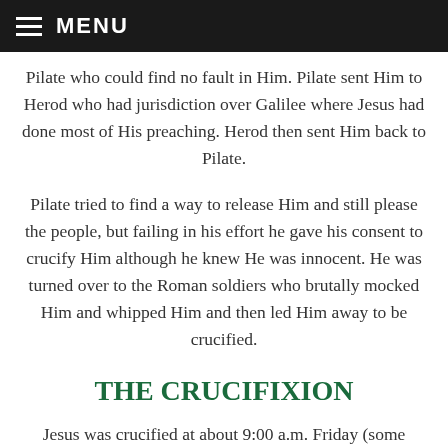MENU
Pilate who could find no fault in Him. Pilate sent Him to Herod who had jurisdiction over Galilee where Jesus had done most of His preaching. Herod then sent Him back to Pilate.
Pilate tried to find a way to release Him and still please the people, but failing in his effort he gave his consent to crucify Him although he knew He was innocent. He was turned over to the Roman soldiers who brutally mocked Him and whipped Him and then led Him away to be crucified.
THE CRUCIFIXION
Jesus was crucified at about 9:00 a.m. Friday (some